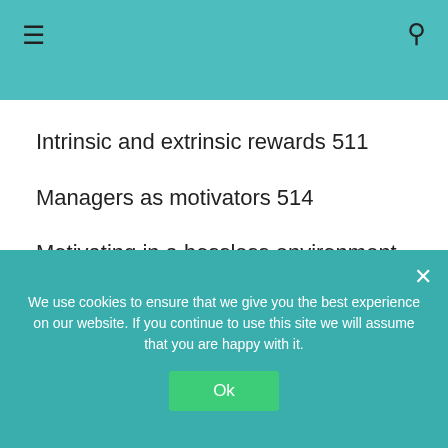Intrinsic and extrinsic rewards 511
Managers as motivators 514
Motivating in a bossless environment 514
11.2 CONTENT PERSPECTIVES ON MOTIVATION 515
The hierarchy of needs 515
We use cookies to ensure that we give you the best experience on our website. If you continue to use this site we will assume that you are happy with it.